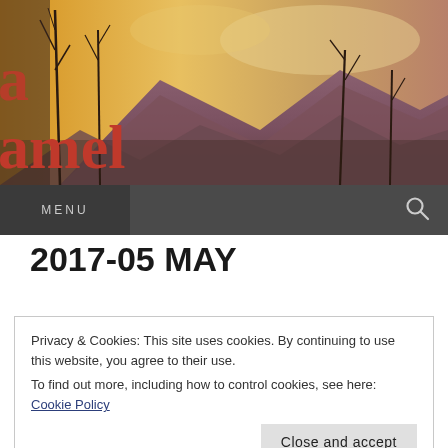[Figure (photo): Scenic mountain sunset landscape with bare twigs/branches silhouetted in foreground, warm orange and golden sky, mountains in background. Partial website header with red text 'amel' visible on left side.]
MENU
2017-05 MAY
Privacy & Cookies: This site uses cookies. By continuing to use this website, you agree to their use.
To find out more, including how to control cookies, see here: Cookie Policy
Close and accept